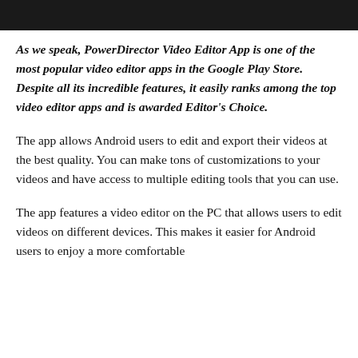As we speak, PowerDirector Video Editor App is one of the most popular video editor apps in the Google Play Store. Despite all its incredible features, it easily ranks among the top video editor apps and is awarded Editor's Choice.
The app allows Android users to edit and export their videos at the best quality. You can make tons of customizations to your videos and have access to multiple editing tools that you can use.
The app features a video editor on the PC that allows users to edit videos on different devices. This makes it easier for Android users to enjoy a more comfortable